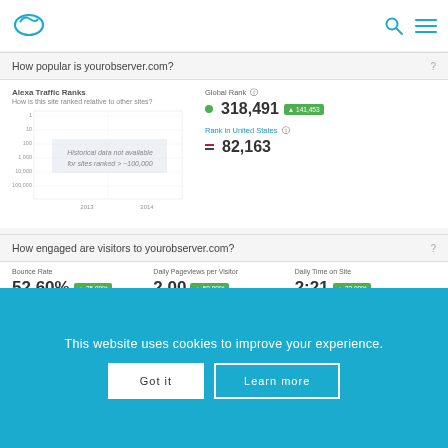[Figure (logo): Alexa logo - oval shape in cyan/teal color]
How popular is yourobserver.com?
Alexa Traffic Ranks
How is this site ranked relative to other sites?
[Figure (continuous-plot): Alexa Traffic Rank chart with message 'Historical data not available for sites ranked > ~100,000'. X-axis shows 2013, 2014. Y-axis shows ranks 1, 10, 100, 1000, 10,000, 100,000.]
Global Rank: 318,491 +141,453
Rank in United States: 82,163
How engaged are visitors to yourobserver.com?
Bounce Rate: 52.60% +25.00%
Daily Pageviews per Visitor: 2.00 +50.00%
Daily Time on Site: 2:21 +33.00%
This website uses cookies to improve your experience.